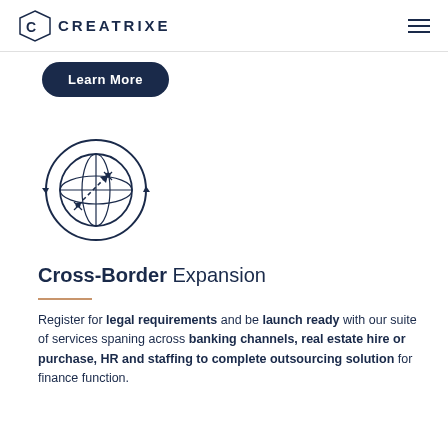CREATRIXE
Learn More
[Figure (illustration): Globe icon with circular arrows and dashed diagonal arrow, in dark navy blue outline style, representing cross-border expansion]
Cross-Border Expansion
Register for legal requirements and be launch ready with our suite of services spaning across banking channels, real estate hire or purchase, HR and staffing to complete outsourcing solution for finance function.